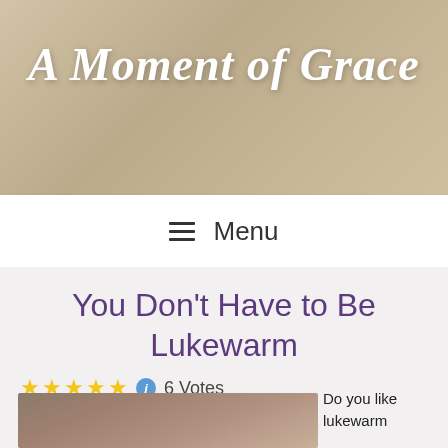A Moment of Grace
☰ Menu
You Don't Have to Be Lukewarm
★★★★★ ℹ 6 Votes
[Figure (photo): Photo of a woman near a stone archway with foliage]
Do you like lukewarm tea?